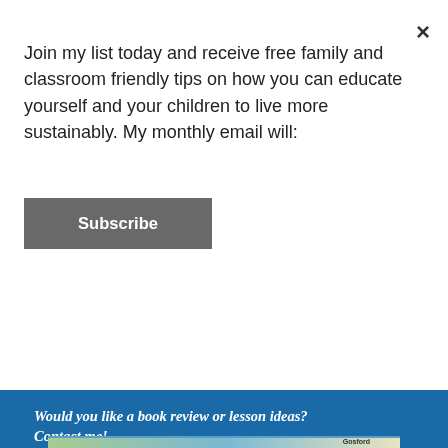Join my list today and receive free family and classroom friendly tips on how you can educate yourself and your children to live more sustainably. My monthly email will:
×
Subscribe
Would you like a book review or lesson ideas? Contact me!
[Figure (map): Partial map showing Gosford area, partially visible at the bottom of the page]